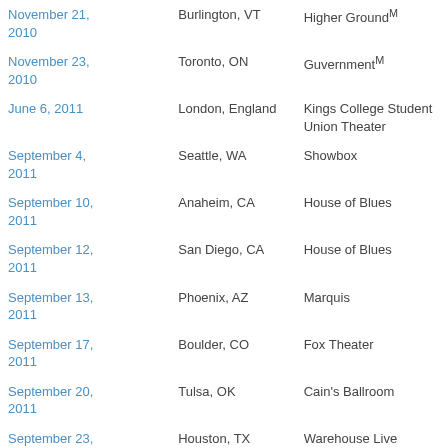| Date | City | Venue |
| --- | --- | --- |
| November 21, 2010 | Burlington, VT | Higher GroundM |
| November 23, 2010 | Toronto, ON | GuvernmentM |
| June 6, 2011 | London, England | Kings College Student Union Theater |
| September 4, 2011 | Seattle, WA | Showbox |
| September 10, 2011 | Anaheim, CA | House of Blues |
| September 12, 2011 | San Diego, CA | House of Blues |
| September 13, 2011 | Phoenix, AZ | Marquis |
| September 17, 2011 | Boulder, CO | Fox Theater |
| September 20, 2011 | Tulsa, OK | Cain's Ballroom |
| September 23, 2011 | Houston, TX | Warehouse Live |
| September 26, 2011 | Pontiac, MI | Crofoot |
| September 27, ... |  |  |